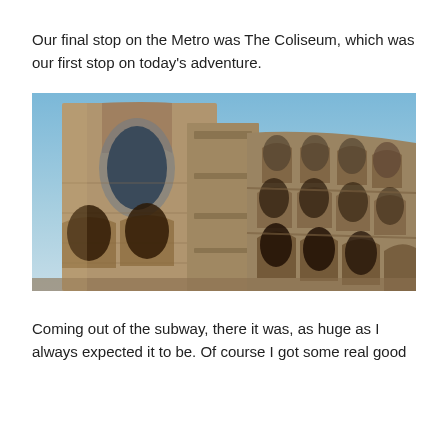Our final stop on the Metro was The Coliseum, which was our first stop on today's adventure.
[Figure (photo): Close-up upward-angle photograph of the Colosseum in Rome, showing the ancient stone arches and facade against a clear blue sky.]
Coming out of the subway, there it was, as huge as I always expected it to be. Of course I got some real good